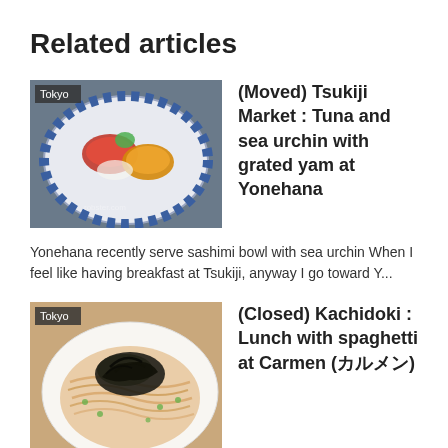Related articles
[Figure (photo): Photo of a blue and white patterned plate with tuna sashimi and sea urchin at Yonehana, Tsukiji Market. Tag: Tokyo.]
(Moved) Tsukiji Market : Tuna and sea urchin with grated yam at Yonehana
Yonehana recently serve sashimi bowl with sea urchin When I feel like having breakfast at Tsukiji, anyway I go toward Y...
[Figure (photo): Photo of a white plate with spaghetti topped with dark seaweed (nori) and green garnish at Carmen, Kachidoki. Tag: Tokyo.]
(Closed) Kachidoki : Lunch with spaghetti at Carmen (カルメン)